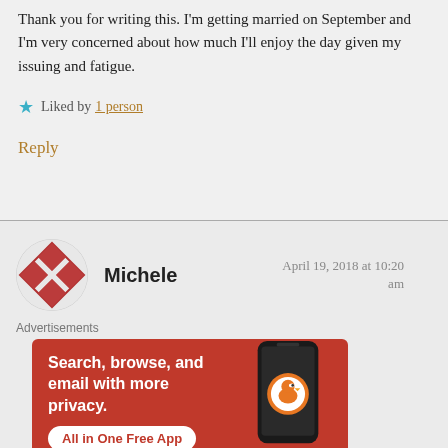Thank you for writing this. I'm getting married on September and I'm very concerned about how much I'll enjoy the day given my issuing and fatigue.
Liked by 1 person
Reply
Michele
April 19, 2018 at 10:20 am
[Figure (illustration): DuckDuckGo advertisement banner with orange/red background showing 'Search, browse, and email with more privacy. All in One Free App' with a phone showing DuckDuckGo logo]